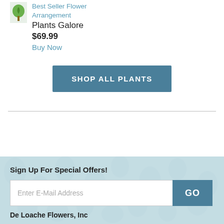[Figure (photo): Small green leaf/plant thumbnail icon]
Best Seller Flower Arrangement
Plants Galore
$69.99
Buy Now
SHOP ALL PLANTS
Sign Up For Special Offers!
Enter E-Mail Address
GO
De Loache Flowers, Inc